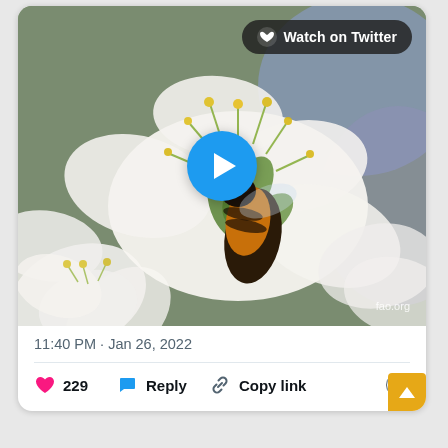[Figure (screenshot): Twitter/X embed card showing a video thumbnail of a bee on white cherry blossoms with a blue play button overlay and 'Watch on Twitter' button. Below the video: timestamp '11:40 PM · Jan 26, 2022', like count 229, Reply button, Copy link button, and info icon.]
11:40 PM · Jan 26, 2022
229   Reply   Copy link